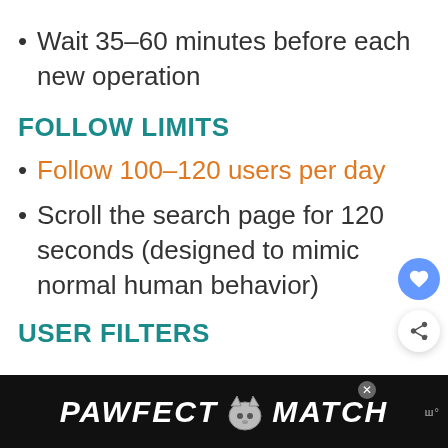Wait 35-60 minutes before each new operation
FOLLOW LIMITS
Follow 100-120 users per day
Scroll the search page for 120 seconds (designed to mimic normal human behavior)
USER FILTERS
[Figure (other): Advertisement banner for PAWFECT MATCH featuring a cat logo on black background]